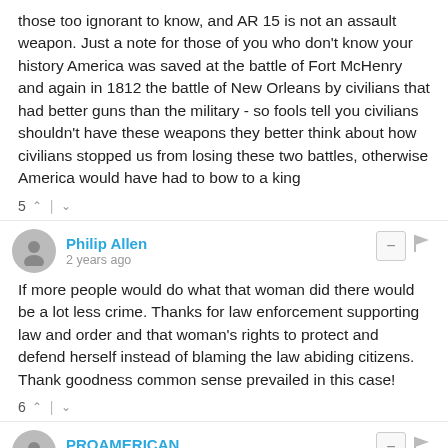those too ignorant to know, and AR 15 is not an assault weapon. Just a note for those of you who don't know your history America was saved at the battle of Fort McHenry and again in 1812 the battle of New Orleans by civilians that had better guns than the military - so fools tell you civilians shouldn't have these weapons they better think about how civilians stopped us from losing these two battles, otherwise America would have had to bow to a king
5
Philip Allen
2 years ago
If more people would do what that woman did there would be a lot less crime. Thanks for law enforcement supporting law and order and that woman's rights to protect and defend herself instead of blaming the law abiding citizens. Thank goodness common sense prevailed in this case!
6
PROAMERICAN
2 years ago edited
It's a good thing she didn't live in Missouri where the couple